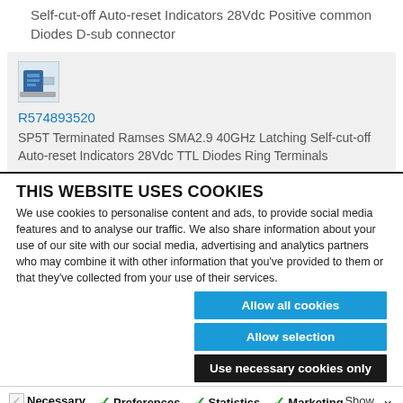Self-cut-off Auto-reset Indicators 28Vdc Positive common Diodes D-sub connector
R574893520
SP5T Terminated Ramses SMA2.9 40GHz Latching Self-cut-off Auto-reset Indicators 28Vdc TTL Diodes Ring Terminals
THIS WEBSITE USES COOKIES
We use cookies to personalise content and ads, to provide social media features and to analyse our traffic. We also share information about your use of our site with our social media, advertising and analytics partners who may combine it with other information that you've provided to them or that they've collected from your use of their services.
Allow all cookies
Allow selection
Use necessary cookies only
Necessary  Preferences  Statistics  Marketing  Show details